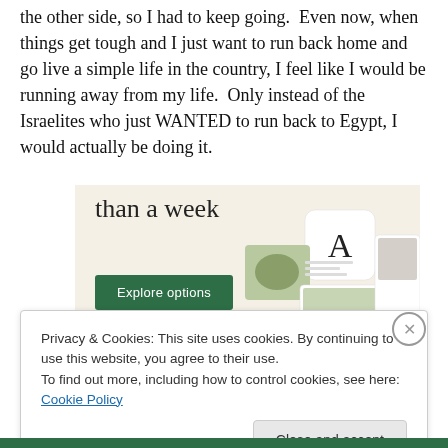the other side, so I had to keep going.  Even now, when things get tough and I just want to run back home and go live a simple life in the country, I feel like I would be running away from my life.  Only instead of the Israelites who just WANTED to run back to Egypt, I would actually be doing it.
[Figure (screenshot): Advertisement banner with beige background showing text 'than a week', a green 'Explore options' button, and mockup screenshots of an app/website with food imagery and a logo with letter A]
Privacy & Cookies: This site uses cookies. By continuing to use this website, you agree to their use.
To find out more, including how to control cookies, see here: Cookie Policy
Close and accept